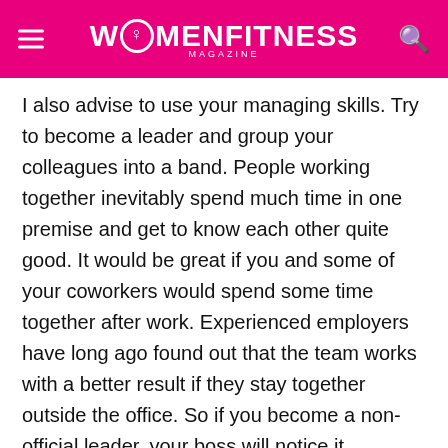WOMEN FITNESS MAGAZINE
I also advise to use your managing skills. Try to become a leader and group your colleagues into a band. People working together inevitably spend much time in one premise and get to know each other quite good. It would be great if you and some of your coworkers would spend some time together after work. Experienced employers have long ago found out that the team works with a better result if they stay together outside the office. So if you become a non-official leader, your boss will notice it.

So, as you see to be a good team worker is not that easy as
[Figure (screenshot): Infolinks ad bar with 'Search for | Business Focus' text and ad icons including play button, Ad badge, eye icon, and close button]
1. APPLY FOR JOB NOW →